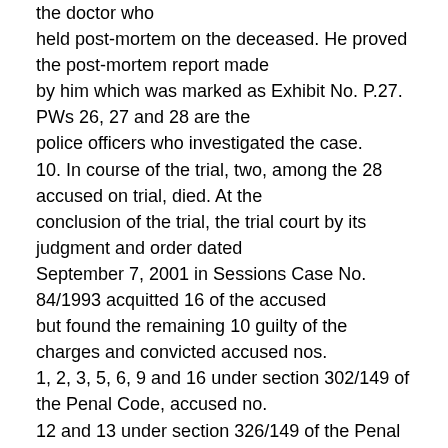the doctor who held post-mortem on the deceased. He proved the post-mortem report made by him which was marked as Exhibit No. P.27. PWs 26, 27 and 28 are the police officers who investigated the case.
10. In course of the trial, two, among the 28 accused on trial, died. At the conclusion of the trial, the trial court by its judgment and order dated September 7, 2001 in Sessions Case No. 84/1993 acquitted 16 of the accused but found the remaining 10 guilty of the charges and convicted accused nos. 1, 2, 3, 5, 6, 9 and 16 under section 302/149 of the Penal Code, accused no. 12 and 13 under section 326/149 of the Penal Code and